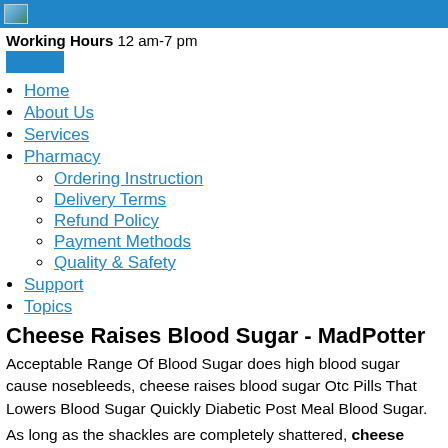Working Hours 12 am-7 pm
Home
About Us
Services
Pharmacy
Ordering Instruction
Delivery Terms
Refund Policy
Payment Methods
Quality & Safety
Support
Topics
Cheese Raises Blood Sugar - MadPotter
Acceptable Range Of Blood Sugar does high blood sugar cause nosebleeds, cheese raises blood sugar Otc Pills That Lowers Blood Sugar Quickly Diabetic Post Meal Blood Sugar.
As long as the shackles are completely shattered, cheese raises blood sugar as long as the shackles are completely void, then Mi Che...